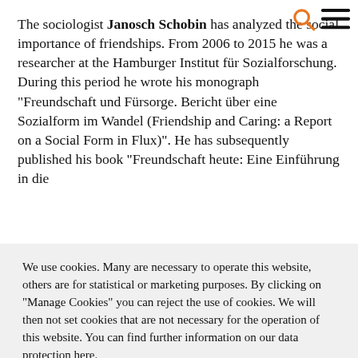The sociologist Janosch Schobin has analyzed the social importance of friendships. From 2006 to 2015 he was a researcher at the Hamburger Institut für Sozialforschung. During this period he wrote his monograph "Freundschaft und Fürsorge. Bericht über eine Sozialform im Wandel (Friendship and Caring: a Report on a Social Form in Flux)". He has subsequently published his book "Freundschaft heute: Eine Einführung in die
We use cookies. Many are necessary to operate this website, others are for statistical or marketing purposes. By clicking on "Manage Cookies" you can reject the use of cookies. We will then not set cookies that are not necessary for the operation of this website. You can find further information on our data protection here.
· Essential  · Analytics  · Marketing
ACCEPT ALL COOKIES
MANAGE COOKIES